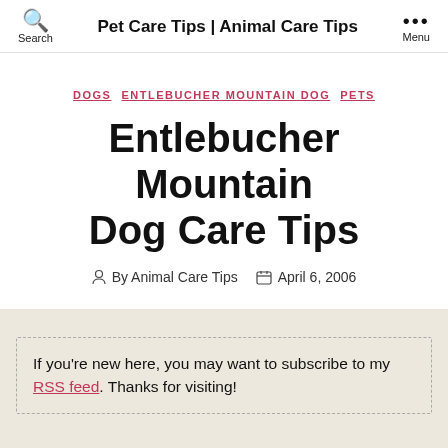Pet Care Tips | Animal Care Tips
DOGS   ENTLEBUCHER MOUNTAIN DOG   PETS
Entlebucher Mountain Dog Care Tips
By Animal Care Tips   April 6, 2006
If you're new here, you may want to subscribe to my RSS feed. Thanks for visiting!